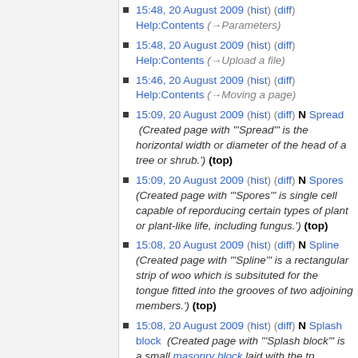15:48, 20 August 2009 (hist) (diff) Help:Contents (→Parameters)
15:48, 20 August 2009 (hist) (diff) Help:Contents (→Upload a file)
15:46, 20 August 2009 (hist) (diff) Help:Contents (→Moving a page)
15:09, 20 August 2009 (hist) (diff) N Spread (Created page with "'Spread' is the horizontal width or diameter of the head of a tree or shrub.') (top)
15:09, 20 August 2009 (hist) (diff) N Spores (Created page with "'Spores' is single cell capable of reporducing certain types of plant or plant-like life, including fungus.') (top)
15:08, 20 August 2009 (hist) (diff) N Spline (Created page with "'Spline' is a rectangular strip of woo which is subsituted for the tongue fitted into the grooves of two adjoining members.') (top)
15:08, 20 August 2009 (hist) (diff) N Splash block (Created page with "'Splash block' is a small masonry block laid with the tp